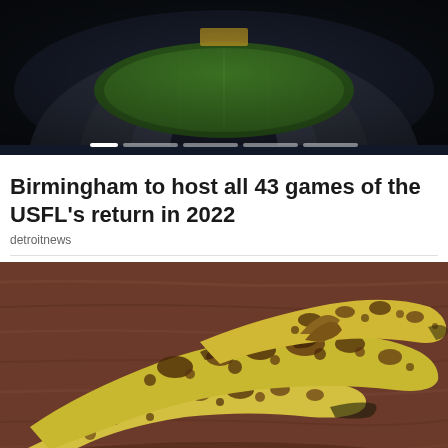[Figure (photo): Aerial view of a football stadium at night, showing the green field and packed stands, with a dark overlay. A slider indicator bar is visible at the bottom of the image.]
Birmingham to host all 43 games of the USFL's return in 2022
detroitnews
[Figure (photo): Three overripe bananas with heavy brown spotting lying on a dark wooden surface.]